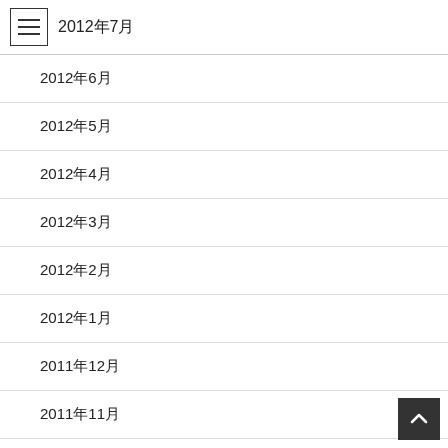2012年7月
2012年6月
2012年5月
2012年4月
2012年3月
2012年2月
2012年1月
2011年12月
2011年11月
2011年10月
2011年9月